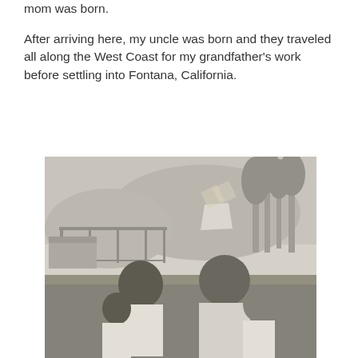mom was born.
After arriving here, my uncle was born and they traveled all along the West Coast for my grandfather's work before settling into Fontana, California.
[Figure (photo): Black and white vintage photograph of a family of four sitting outdoors on grass. A woman holds a young child on the left, and a man holds a baby/toddler on the right. Trees and a building structure are visible in the background.]